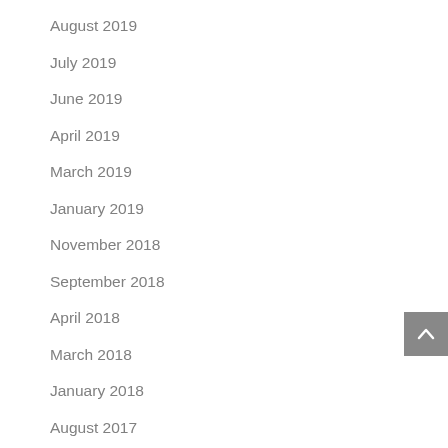August 2019
July 2019
June 2019
April 2019
March 2019
January 2019
November 2018
September 2018
April 2018
March 2018
January 2018
August 2017
July 2017
June 2017
April 2017